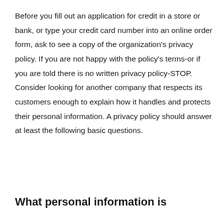Before you fill out an application for credit in a store or bank, or type your credit card number into an online order form, ask to see a copy of the organization's privacy policy. If you are not happy with the policy's terms-or if you are told there is no written privacy policy-STOP. Consider looking for another company that respects its customers enough to explain how it handles and protects their personal information. A privacy policy should answer at least the following basic questions.
What personal information is